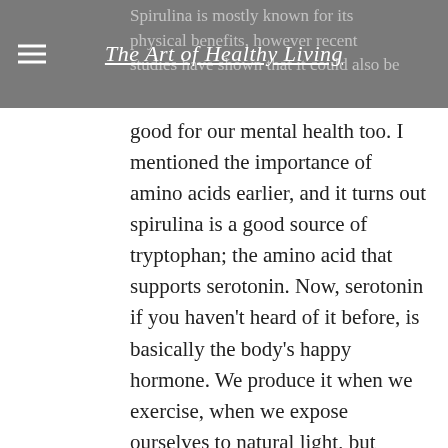The Art of Healthy Living
Spirulina is mostly known for its physical benefits, however recent studies have shown that it could also be good for our mental health too. I mentioned the importance of amino acids earlier, and it turns out spirulina is a good source of tryptophan; the amino acid that supports serotonin. Now, serotonin if you haven't heard of it before, is basically the body's happy hormone. We produce it when we exercise, when we expose ourselves to natural light, but mostly we get tryptophan from the food we eat which is then converted to serotonin. People who have depression or who suffer with anxiety may have reduced levels of serotonin and so complimenting the diet with spirulina could help to